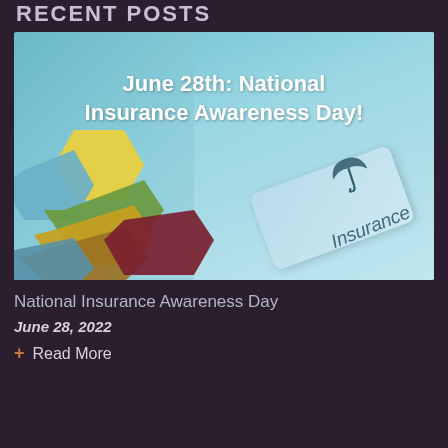RECENT POSTS
[Figure (illustration): Promotional blog post image for National Insurance Awareness Day showing a teal keyboard key labeled 'Insurance' with an umbrella icon, overlaid with colorful geometric hexagonal shapes in yellow, green, blue, dark red, and gold, with bold white text reading 'June 28th: National Insurance Awareness Day!']
National Insurance Awareness Day
June 28, 2022
+ Read More